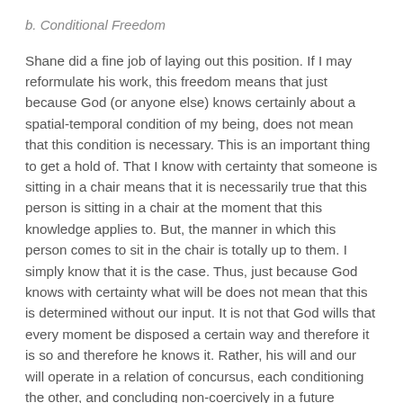b. Conditional Freedom
Shane did a fine job of laying out this position. If I may reformulate his work, this freedom means that just because God (or anyone else) knows certainly about a spatial-temporal condition of my being, does not mean that this condition is necessary. This is an important thing to get a hold of. That I know with certainty that someone is sitting in a chair means that it is necessarily true that this person is sitting in a chair at the moment that this knowledge applies to. But, the manner in which this person comes to sit in the chair is totally up to them. I simply know that it is the case. Thus, just because God knows with certainty what will be does not mean that this is determined without our input. It is not that God wills that every moment be disposed a certain way and therefore it is so and therefore he knows it. Rather, his will and our will operate in a relation of concursus, each conditioning the other, and concluding non-coercively in a future disposition.